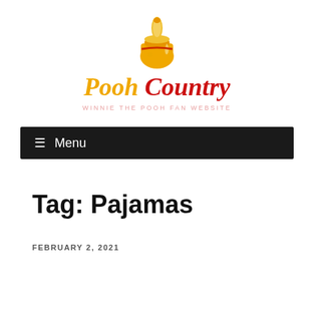[Figure (logo): Pooh Country website logo: honey pot icon above stylized 'Pooh Country' text with tagline 'WINNIE THE POOH FAN WEBSITE']
≡ Menu
Tag: Pajamas
FEBRUARY 2, 2021